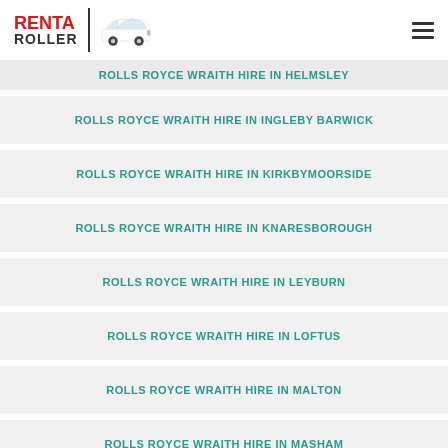RENT A ROLLER
ROLLS ROYCE WRAITH HIRE IN HELMSLEY
ROLLS ROYCE WRAITH HIRE IN INGLEBY BARWICK
ROLLS ROYCE WRAITH HIRE IN KIRKBYMOORSIDE
ROLLS ROYCE WRAITH HIRE IN KNARESBOROUGH
ROLLS ROYCE WRAITH HIRE IN LEYBURN
ROLLS ROYCE WRAITH HIRE IN LOFTUS
ROLLS ROYCE WRAITH HIRE IN MALTON
ROLLS ROYCE WRAITH HIRE IN MASHAM